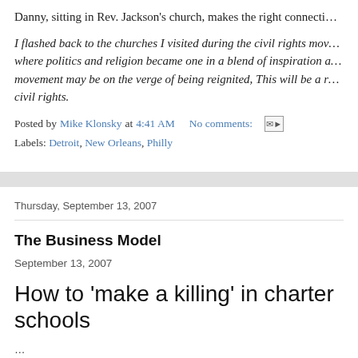Danny, sitting in Rev. Jackson's church, makes the right connecti…
I flashed back to the churches I visited during the civil rights mov… where politics and religion became one in a blend of inspiration a… movement may be on the verge of being reignited, This will be a r… civil rights.
Posted by Mike Klonsky at 4:41 AM    No comments:
Labels: Detroit, New Orleans, Philly
Thursday, September 13, 2007
The Business Model
September 13, 2007
How to 'make a killing' in charter schools
…